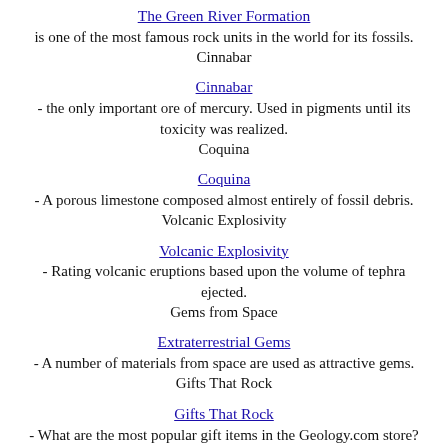The Green River Formation
is one of the most famous rock units in the world for its fossils.
Cinnabar
Cinnabar
- the only important ore of mercury. Used in pigments until its toxicity was realized.
Coquina
Coquina
- A porous limestone composed almost entirely of fossil debris.
Volcanic Explosivity
Volcanic Explosivity
- Rating volcanic eruptions based upon the volume of tephra ejected.
Gems from Space
Extraterrestrial Gems
- A number of materials from space are used as attractive gems.
Gifts That Rock
Gifts That Rock
- What are the most popular gift items in the Geology.com store?
Largest Hurricanes